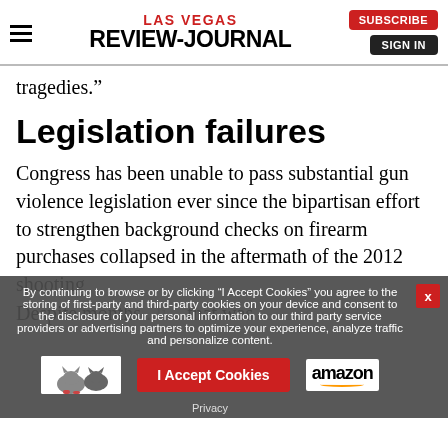LAS VEGAS REVIEW-JOURNAL
tragedies.”
Legislation failures
Congress has been unable to pass substantial gun violence legislation ever since the bipartisan effort to strengthen background checks on firearm purchases collapsed in the aftermath of the 2012 shooting
Despite months ... that was
By continuing to browse or by clicking “I Accept Cookies” you agree to the storing of first-party and third-party cookies on your device and consent to the disclosure of your personal information to our third party service providers or advertising partners to optimize your experience, analyze traffic and personalize content.